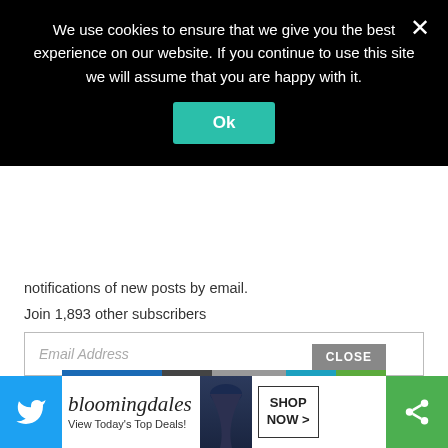We use cookies to ensure that we give you the best experience on our website. If you continue to use this site we will assume that you are happy with it.
Ok
notifications of new posts by email.
Join 1,893 other subscribers
Email Address
SUBSCRIBE
CLOSE
[Figure (screenshot): Bloomingdales advertisement banner: 'bloomingdales View Today's Top Deals!' with a model wearing a hat and a 'SHOP NOW >' button]